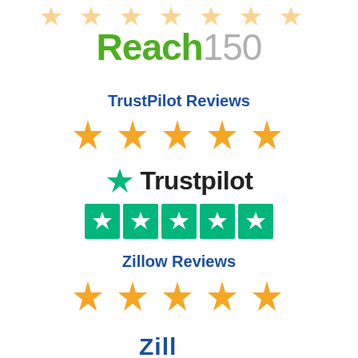[Figure (illustration): Row of gold star outline/partial stars at top of page]
[Figure (logo): Reach150 logo with green 'Reach' text and gray '150']
TrustPilot Reviews
[Figure (illustration): Five large gold filled stars rating]
[Figure (logo): Trustpilot logo with green star icon and five green rating boxes with white stars]
Zillow Reviews
[Figure (illustration): Five large gold filled stars rating]
[Figure (logo): Zillow logo partially visible at bottom]